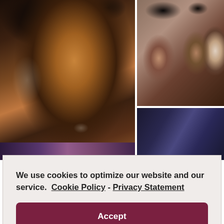[Figure (photo): Collage of four photos showing Black women with natural hair styles. Top left: a woman with long natural curly hair. Top right: three women posing together with natural afro hairstyles. Bottom right: close-up of a woman's eyes with blue natural hair.]
We use cookies to optimize our website and our service.  Cookie Policy - Privacy Statement
Accept
can't help it. They have gorgeous tresses and they help guide us through our insecurities about our hair, styles and products and we love them for it.